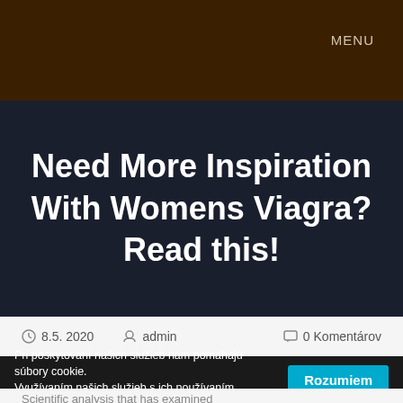MENU
Need More Inspiration With Womens Viagra? Read this!
8.5. 2020   admin   0 Komentárov
Pri poskytovaní našich služieb nám pomáhajú súbory cookie. Využívaním našich služieb s ich používaním súhlasíte. - Viac informácií
Scientific analysis that has examined